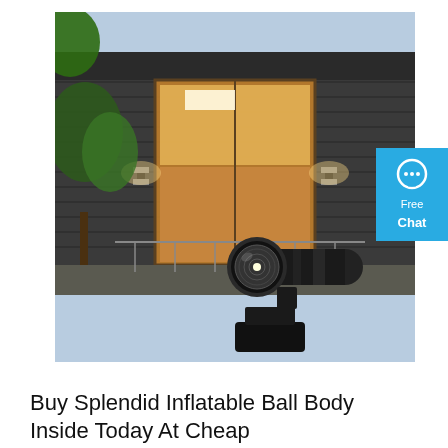[Figure (photo): Composite product image: background shows a modern house exterior with dark horizontal siding, large glass sliding doors with warm interior lighting, greenery on the left, and wall-mounted cylindrical up-down lights on the exterior walls. In the foreground, overlaid on the lower-right portion of the house photo, is a black cylindrical COB LED outdoor wall light fixture angled toward the viewer, showing its reflective lens opening, mounted on a square black base.]
[Figure (screenshot): Blue chat widget button on the right edge showing a speech bubble icon with ellipsis, and the text 'Free Chat' in white.]
Buy Splendid Inflatable Ball Body Inside Today At Cheap